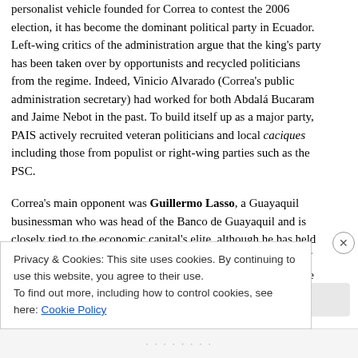personalist vehicle founded for Correa to contest the 2006 election, it has become the dominant political party in Ecuador. Left-wing critics of the administration argue that the king's party has been taken over by opportunists and recycled politicians from the old regime. Indeed, Vinicio Alvarado (Correa's public administration secretary) had worked for both Abdalá Bucaram and Jaime Nebot in the past. To build itself up as a major party, PAIS actively recruited veteran politicians and local caciques including those from populist or right-wing parties such as the PSC.
Correa's main opponent was Guillermo Lasso, a Guayaquil businessman who was head of the Banco de Guayaquil and is closely tied to the economic capital's elite, although he has held appointed political positions in the past: appointed governor of his province and a short time as Jamil Mahuad's minister of the economy. Lasso presents as a centrist liberal (on economic matters); Correa has painted him as a right-winger who will bring the country back to the 'old regime'. Lasso was quite desperate to appear more centrist and play down his more conservative positions (he is a self-aw...
Privacy & Cookies: This site uses cookies. By continuing to use this website, you agree to their use.
To find out more, including how to control cookies, see here: Cookie Policy
Close and accept